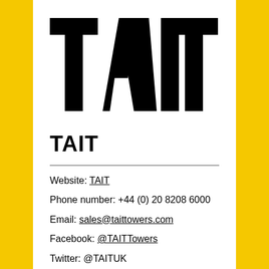[Figure (logo): TAIT logo in bold black geometric lettering with triangular cutout in the A]
TAIT
Website: TAIT
Phone number: +44 (0) 20 8208 6000
Email: sales@taittowers.com
Facebook: @TAITTowers
Twitter: @TAITUK